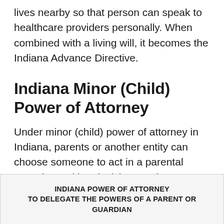lives nearby so that person can speak to healthcare providers personally. When combined with a living will, it becomes the Indiana Advance Directive.
Indiana Minor (Child) Power of Attorney
Under minor (child) power of attorney in Indiana, parents or another entity can choose someone to act in a parental capacity, making decisions and performing actions that concern a child under 18. The attorney-in-fact ensures that the child receives proper care.
INDIANA POWER OF ATTORNEY
TO DELEGATE THE POWERS OF A PARENT OR
GUARDIAN